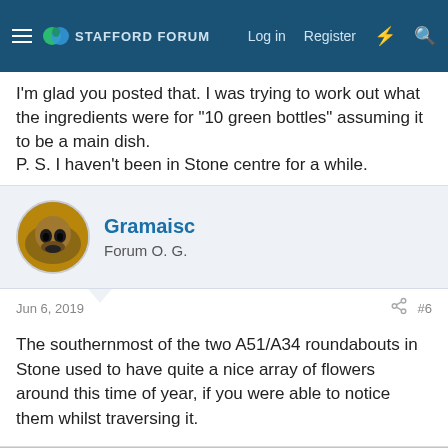Stafford Forum — Log in  Register
I'm glad you posted that. I was trying to work out what the ingredients were for "10 green bottles" assuming it to be a main dish.
P. S. I haven't been in Stone centre for a while.
Gramaisc
Forum O. G.
Jun 6, 2019  #6
The southernmost of the two A51/A34 roundabouts in Stone used to have quite a nice array of flowers around this time of year, if you were able to notice them whilst traversing it.
This site uses cookies to help personalise content, tailor your experience and to keep you logged in if you register.
By continuing to use this site, you are consenting to our use of cookies.